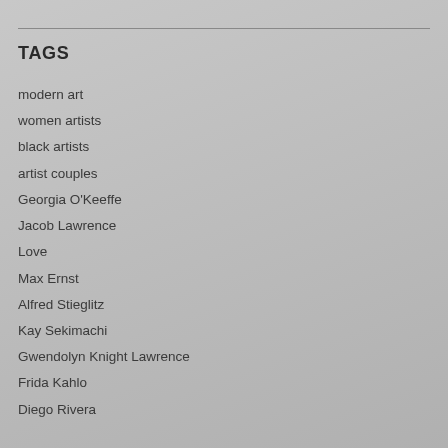TAGS
modern art
women artists
black artists
artist couples
Georgia O'Keeffe
Jacob Lawrence
Love
Max Ernst
Alfred Stieglitz
Kay Sekimachi
Gwendolyn Knight Lawrence
Frida Kahlo
Diego Rivera